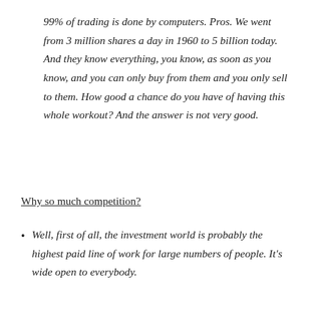99% of trading is done by computers. Pros. We went from 3 million shares a day in 1960 to 5 billion today. And they know everything, you know, as soon as you know, and you can only buy from them and you only sell to them. How good a chance do you have of having this whole workout? And the answer is not very good.
Why so much competition?
Well, first of all, the investment world is probably the highest paid line of work for large numbers of people. It's wide open to everybody.